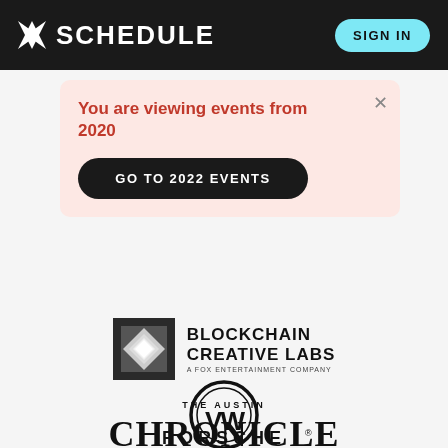K SCHEDULE   SIGN IN
You are viewing events from 2020
GO TO 2022 EVENTS
[Figure (logo): Blockchain Creative Labs logo — stylized B icon with BLOCKCHAIN CREATIVE LABS text and 'A FOX ENTERTAINMENT COMPANY' subtitle]
[Figure (logo): Volkswagen VW circular logo]
[Figure (logo): The Austin Chronicle logo in bold serif font]
[Figure (logo): PORSCHE wordmark logo]